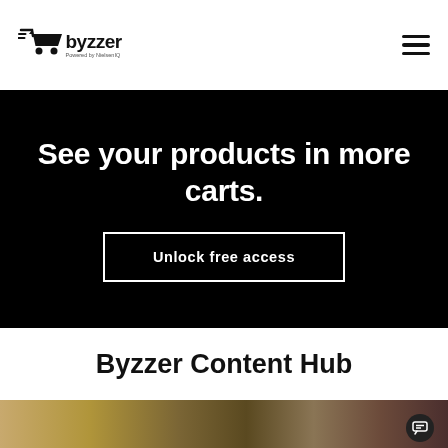[Figure (logo): Byzzer logo with shopping cart icon and text 'Byzzer Powered by NielsenIQ']
[Figure (other): Hamburger menu icon (three horizontal lines)]
See your products in more carts.
Unlock free access
Byzzer Content Hub
[Figure (photo): Partial photo showing a person and items on a surface, with a dark chat icon circle in the bottom right]